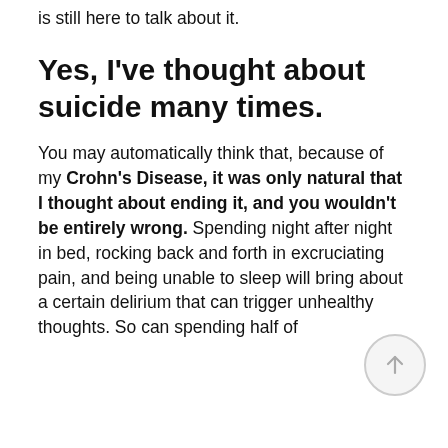is still here to talk about it.
Yes, I've thought about suicide many times.
You may automatically think that, because of my Crohn's Disease, it was only natural that I thought about ending it, and you wouldn't be entirely wrong. Spending night after night in bed, rocking back and forth in excruciating pain, and being unable to sleep will bring about a certain delirium that can trigger unhealthy thoughts. So can spending half of